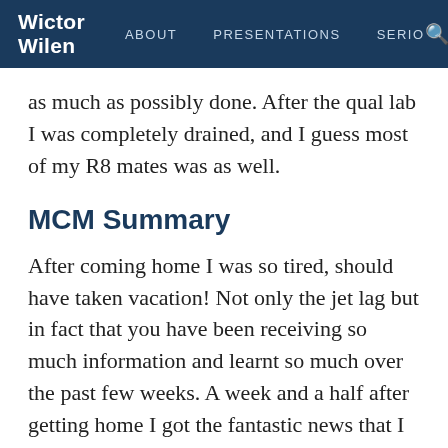Wictor Wilen  ABOUT  PRESENTATIONS  SERIO
as much as possibly done. After the qual lab I was completely drained, and I guess most of my R8 mates was as well.
MCM Summary
After coming home I was so tired, should have taken vacation! Not only the jet lag but in fact that you have been receiving so much information and learnt so much over the past few weeks. A week and a half after getting home I got the fantastic news that I passed all written exams and the qualification lab. On my first attempt - hell yeah I'm proud!